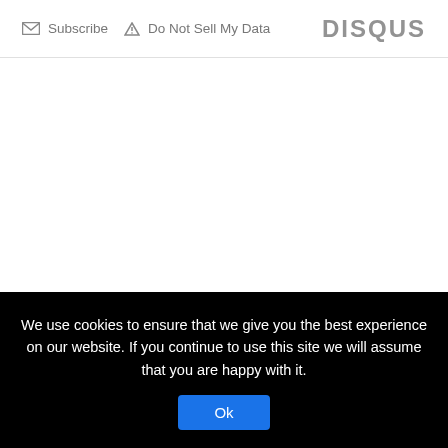Subscribe  Do Not Sell My Data  DISQUS
ABOUT
Hej, I'm Natalye. I was born and raised in California, and now I live in Berlin with my partner, our child, and our cats. I'm an author and a freelance writer and editor. I love coffee, craft beer, vegan food, reading, mixtapes, cooking, bikes, live music, photography, and travel.
We use cookies to ensure that we give you the best experience on our website. If you continue to use this site we will assume that you are happy with it. Ok